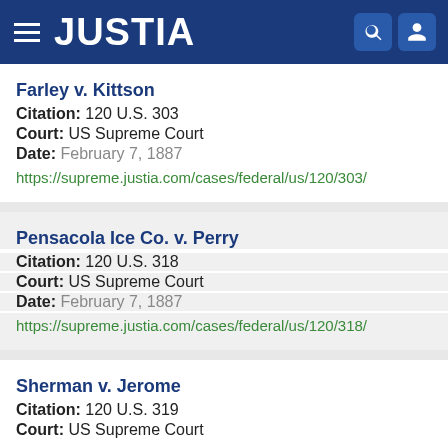JUSTIA
Farley v. Kittson
Citation: 120 U.S. 303
Court: US Supreme Court
Date: February 7, 1887
https://supreme.justia.com/cases/federal/us/120/303/
Pensacola Ice Co. v. Perry
Citation: 120 U.S. 318
Court: US Supreme Court
Date: February 7, 1887
https://supreme.justia.com/cases/federal/us/120/318/
Sherman v. Jerome
Citation: 120 U.S. 319
Court: US Supreme Court